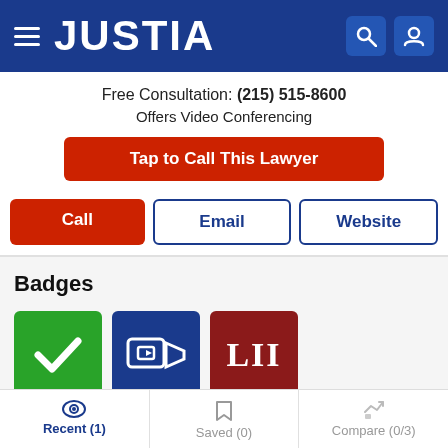JUSTIA
Free Consultation: (215) 515-8600
Offers Video Conferencing
Tap to Call This Lawyer
Call | Email | Website
Badges
[Figure (infographic): Three badge icons: green checkmark badge, navy blue video camera badge, dark red LII text badge]
Recent (1) | Saved (0) | Compare (0/3)